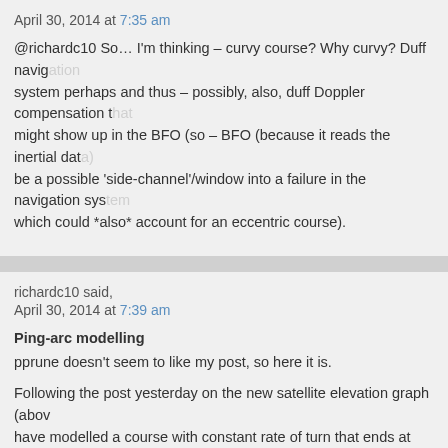April 30, 2014 at 7:35 am
@richardc10 So… I'm thinking – curvy course? Why curvy? Duff navigation system perhaps and thus – possibly, also, duff Doppler compensation that might show up in the BFO (so – BFO (because it reads the inertial data) could be a possible 'side-channel'/window into a failure in the navigation system, which could *also* account for an eccentric course).
richardc10 said,
April 30, 2014 at 7:39 am
Ping-arc modelling
pprune doesn't seem to like my post, so here it is.
Following the post yesterday on the new satellite elevation graph (above) I have modelled a course with constant rate of turn that ends at the final ping box, and which fits the elevation graph. As stated yesterday, a great circle course at constant speed leads to the original search area.
In this work I fitted the start point (lat, long), original heading, change of heading per hour and the (constant) speed, and of course the satellite elevation data. I have fitted the 19:41 to 00:11UT elevation data. The plot shown below.